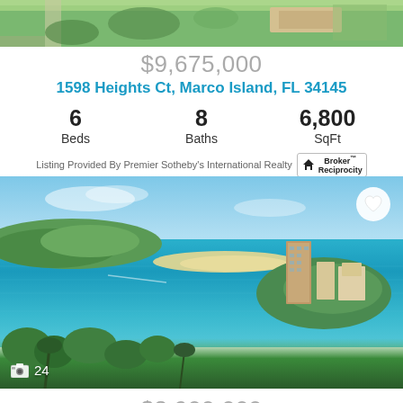[Figure (photo): Aerial/overhead view of a property with green lawn, rooftop, and surrounding vegetation at top of page]
$9,675,000
1598 Heights Ct, Marco Island, FL 34145
6 Beds  8 Baths  6,800 SqFt
Listing Provided By Premier Sotheby's International Realty  Broker Reciprocity
[Figure (photo): Aerial view of coastal waterway near Marco Island, Florida, showing turquoise water, a sandbar, a large condo/hotel building on a peninsula, and lush tropical vegetation in the foreground. Camera icon with count 24 in bottom left corner. Heart/favorite button in top right corner.]
$8,900,000